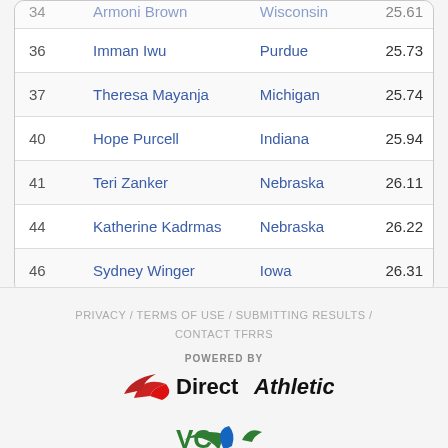| # | Athlete | School | Time |
| --- | --- | --- | --- |
| 34 | Armoni Brown | Wisconsin | 25.61 |
| 36 | Imman Iwu | Purdue | 25.73 |
| 37 | Theresa Mayanja | Michigan | 25.74 |
| 40 | Hope Purcell | Indiana | 25.94 |
| 41 | Teri Zanker | Nebraska | 26.11 |
| 44 | Katherine Kadrmas | Nebraska | 26.22 |
| 46 | Sydney Winger | Iowa | 26.31 |
PRIVACY / TERMS OF USE / SUBMITTING RESULTS / CONTACT TFRRS
[Figure (logo): Powered by Direct Athletics logo with red swoosh icon]
[Figure (logo): USATF logo with wing icon in green and blue]